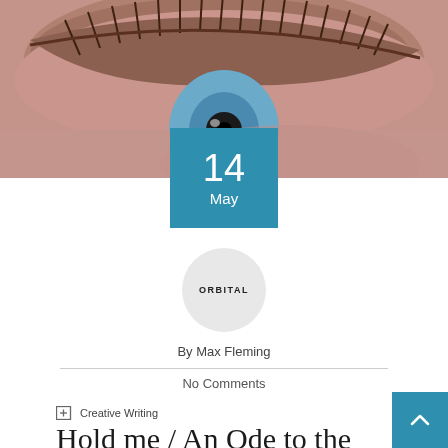[Figure (photo): Close-up macro photograph of a human eye with long eyelashes, warm skin tones, blue iris visible at top]
14
May
[Figure (logo): Circular grey avatar badge with ORBITAL text in bold uppercase]
By Max Fleming
No Comments
Creative Writing
Hold me / An Ode to the Boy I loved